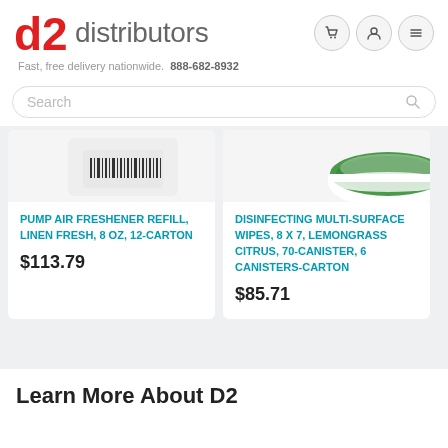[Figure (logo): D2 Distributors logo with red D2 mark and gray distributors text]
Fast, free delivery nationwide.  888-682-8932
Search
[Figure (photo): Partial product image of Pump Air Freshener Refill showing barcode area on white background]
PUMP AIR FRESHENER REFILL, LINEN FRESH, 8 OZ, 12-CARTON
$113.79
[Figure (photo): Partial product image of Disinfecting Multi-Surface Wipes with green lid visible]
DISINFECTING MULTI-SURFACE WIPES, 8 X 7, LEMONGRASS CITRUS, 70-CANISTER, 6 CANISTERS-CARTON
$85.71
Learn More About D2